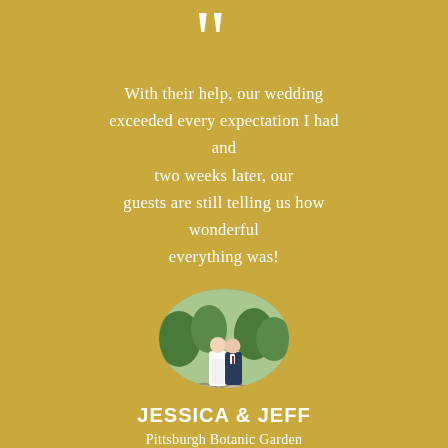[Figure (illustration): Large white closing quotation mark symbol on gold background]
With their help, our wedding exceeded every expectation I had and two weeks later, our guests are still telling us how wonderful everything was!
[Figure (photo): Circular photo of couple (Jessica and Jeff) standing on a bridge in a garden, bride in white dress, groom in navy suit]
JESSICA & JEFF
Pittsburgh Botanic Garden